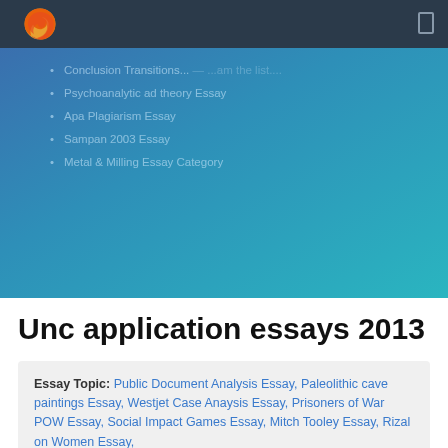Firefox browser header navigation bar
[Figure (screenshot): Browser header with Firefox logo and navigation menu items including: Conclusion Transitions..., Psychoanalytic ad theory Essay, Apa Plagiarism Essay, Sampan 2003 Essay, Metal & Milling Essay Category]
Unc application essays 2013
Essay Topic: Public Document Analysis Essay, Paleolithic cave paintings Essay, Westjet Case Anaysis Essay, Prisoners of War POW Essay, Social Impact Games Essay, Mitch Tooley Essay, Rizal on Women Essay,
Paper type: Essay
Words: 888, Paragraphs: 33, Pages: 6